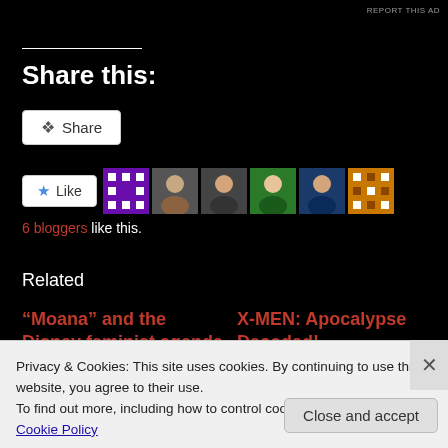REPORT THIS AD
Share this:
Share
[Figure (infographic): Like button with star icon, followed by avatar images of 6 bloggers who liked the post]
6 bloggers like this.
Related
"Moana" and the Disney feminist agenda — July 6, 2017
X-MEN: Apocalypse Decoded! — June 2, 2016
Privacy & Cookies: This site uses cookies. By continuing to use this website, you agree to their use.
To find out more, including how to control cookies, see here: Cookie Policy
Close and accept